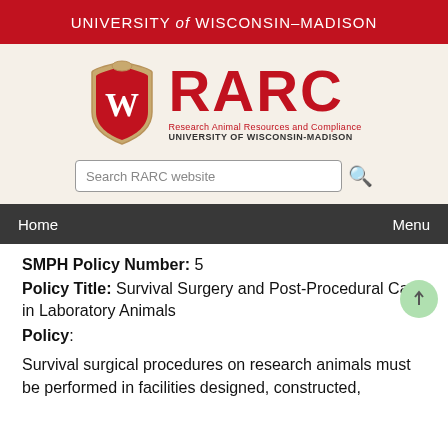UNIVERSITY of WISCONSIN–MADISON
[Figure (logo): UW-Madison RARC logo with UW shield and red RARC text, Research Animal Resources and Compliance, University of Wisconsin-Madison]
[Figure (other): Search RARC website search bar with magnifying glass icon]
Home    Menu
SMPH Policy Number: 5
Policy Title: Survival Surgery and Post-Procedural Care in Laboratory Animals
Policy:
Survival surgical procedures on research animals must be performed in facilities designed, constructed,